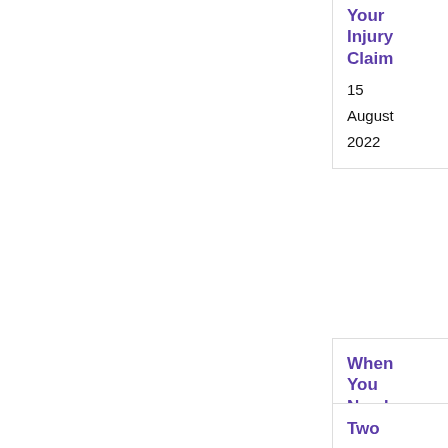Your Injury Claim
15 August 2022
When You Need A Workers Comp Insurance Lawyer
8 June 2022
Two